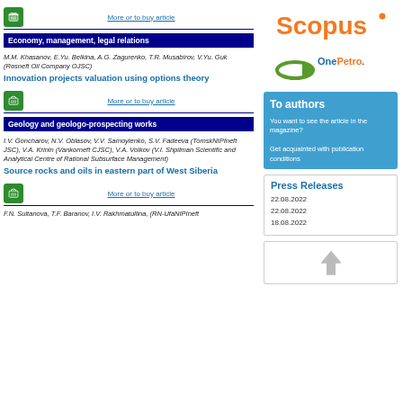[Figure (logo): Cart icon with More or to buy article link]
Economy, management, legal relations
M.M. Khasanov, E.Yu. Belkina, A.G. Zagurenko, T.R. Musabirov, V.Yu. Guk (Rosneft Oil Company OJSC)
Innovation projects valuation using options theory
[Figure (logo): Cart icon with More or to buy article link]
Geology and geologo-prospecting works
I.V. Goncharov, N.V. Oblasov, V.V. Samoylenko, S.V. Fadeeva (TomskNIPIneft JSC), V.A. Krinin (Vankorneft CJSC), V.A. Volkov (V.I. Shpilman Scientific and Analytical Centre of Rational Subsurface Management)
Source rocks and oils in eastern part of West Siberia
[Figure (logo): Cart icon with More or to buy article link]
F.N. Sultanova, T.F. Baranov, I.V. Rakhmatullina, (RN-UfaNIPIneft
[Figure (logo): Scopus logo]
[Figure (logo): OnePetro logo]
To authors
You want to see the article in the magazine?
Get acquainted with publication conditions
Press Releases
22.08.2022
22.08.2022
18.08.2022
[Figure (other): Back to top arrow icon]